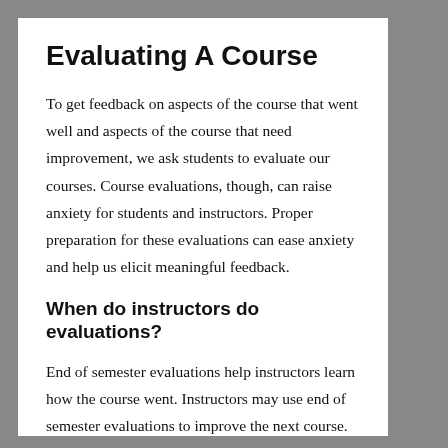Evaluating A Course
To get feedback on aspects of the course that went well and aspects of the course that need improvement, we ask students to evaluate our courses. Course evaluations, though, can raise anxiety for students and instructors. Proper preparation for these evaluations can ease anxiety and help us elicit meaningful feedback.
When do instructors do evaluations?
End of semester evaluations help instructors learn how the course went. Instructors may use end of semester evaluations to improve the next course. Yet, the current students do not benefit from the data collected from end of semester evaluations. In addition